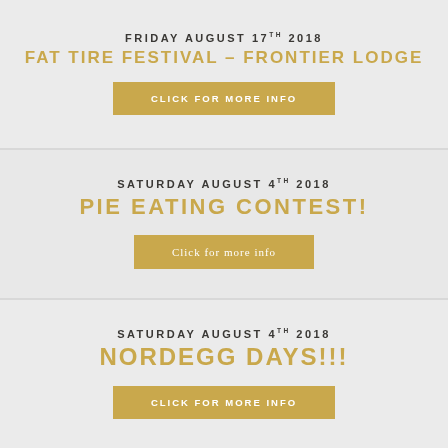FRIDAY AUGUST 17TH 2018
FAT TIRE FESTIVAL – FRONTIER LODGE
CLICK FOR MORE INFO
SATURDAY AUGUST 4TH 2018
PIE EATING CONTEST!
Click for more info
SATURDAY AUGUST 4TH 2018
NORDEGG DAYS!!!
CLICK FOR MORE INFO